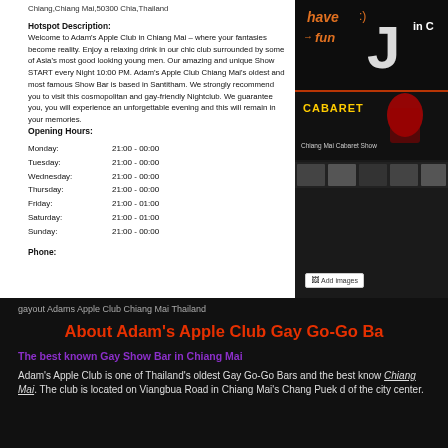Chiang,Chiang Mai,50300 Chia,Thailand
Hotspot Description: Welcome to Adam's Apple Club in Chiang Mai – where your fantasies become reality. Enjoy a relaxing drink in our chic club surrounded by some of Asia's most good looking young men. Our amazing and unique Show START every Night 10:00 PM. Adam's Apple Club Chiang Mai's oldest and most famous Show Bar is based in Santitham. We strongly recommend you to visit this cosmopolitan and gay-friendly Nightclub. We guarantee you, you will experience an unforgettable evening and this will remain in your memories.
Opening Hours:
| Monday: | 21:00 - 00:00 |
| Tuesday: | 21:00 - 00:00 |
| Wednesday: | 21:00 - 00:00 |
| Thursday: | 21:00 - 00:00 |
| Friday: | 21:00 - 01:00 |
| Saturday: | 21:00 - 01:00 |
| Sunday: | 21:00 - 00:00 |
Phone:
[Figure (photo): Nightclub cabaret show photo collage with text 'have fun' and 'CABARET' and 'Chiang Mai Cabaret Show']
Add images
gayout Adams Apple Club Chiang Mai Thailand
About Adam's Apple Club Gay Go-Go Ba
The best known Gay Show Bar in Chiang Mai
Adam's Apple Club is one of Thailand's oldest Gay Go-Go Bars and the best know Chiang Mai. The club is located on Viangbua Road in Chiang Mai's Chang Puek of the city center.